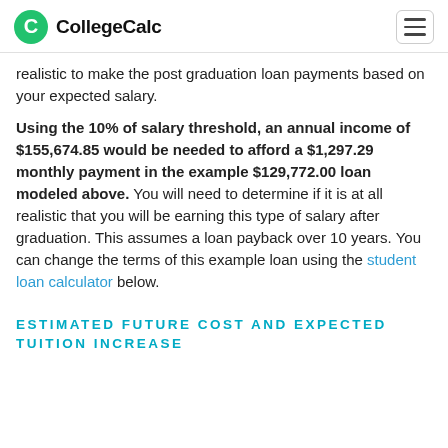CollegeCalc
realistic to make the post graduation loan payments based on your expected salary.
Using the 10% of salary threshold, an annual income of $155,674.85 would be needed to afford a $1,297.29 monthly payment in the example $129,772.00 loan modeled above. You will need to determine if it is at all realistic that you will be earning this type of salary after graduation. This assumes a loan payback over 10 years. You can change the terms of this example loan using the student loan calculator below.
ESTIMATED FUTURE COST AND EXPECTED TUITION INCREASE